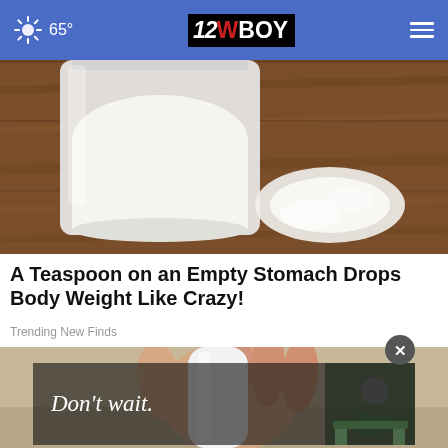65° | 12WBOY
[Figure (photo): White powder in a glass jar with a spill of powder on a wooden table surface]
A Teaspoon on an Empty Stomach Drops Body Weight Like Crazy!
Trending New Finds
[Figure (photo): Hand holding a white bottle]
[Figure (photo): Advertisement overlay showing 'Don't wait.' text with a person in the background]